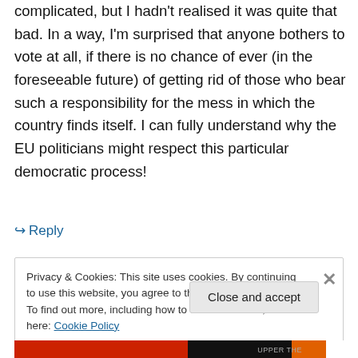complicated, but I hadn't realised it was quite that bad. In a way, I'm surprised that anyone bothers to vote at all, if there is no chance of ever (in the foreseeable future) of getting rid of those who bear such a responsibility for the mess in which the country finds itself. I can fully understand why the EU politicians might respect this particular democratic process!
↪ Reply
Privacy & Cookies: This site uses cookies. By continuing to use this website, you agree to their use.
To find out more, including how to control cookies, see here: Cookie Policy
Close and accept